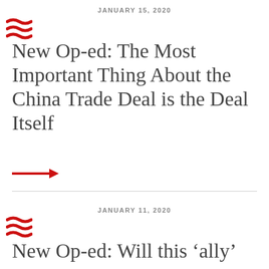JANUARY 15, 2020
[Figure (illustration): Red chevron/wave icon (decorative logo element)]
New Op-ed: The Most Important Thing About the China Trade Deal is the Deal Itself
[Figure (illustration): Red arrow pointing right (read more link arrow)]
JANUARY 11, 2020
[Figure (illustration): Red chevron/wave icon (decorative logo element)]
New Op-ed: Will this ‘ally’